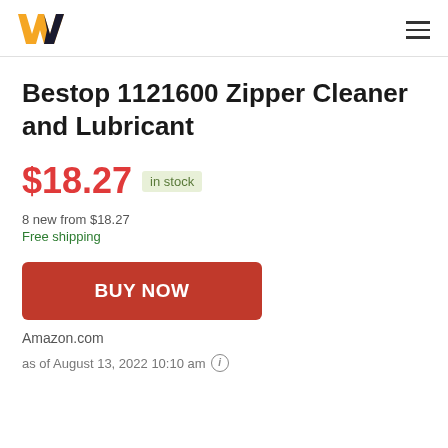W logo and hamburger menu
Bestop 1121600 Zipper Cleaner and Lubricant
$18.27 in stock
8 new from $18.27
Free shipping
BUY NOW
Amazon.com
as of August 13, 2022 10:10 am